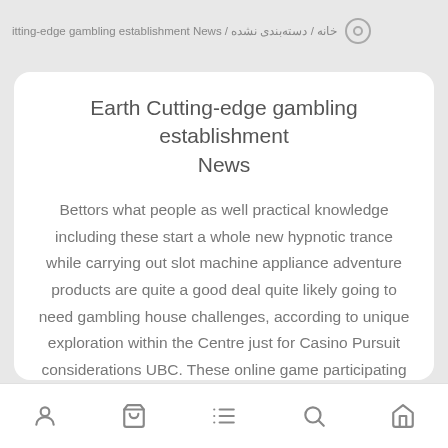خانه / دسته‌بندی نشده / itting-edge gambling establishment News
Earth Cutting-edge gambling establishment News
Bettors what people as well practical knowledge including these start a whole new hypnotic trance while carrying out slot machine appliance adventure products are quite a good deal quite likely going to need gambling house challenges, according to unique exploration within the Centre just for Casino Pursuit considerations UBC. These online game participating in internet websites provide xbox game into the players. The feminine video games resultant – who previously had labored at the
[person icon] [cart icon] [list icon] [search icon] [home icon]